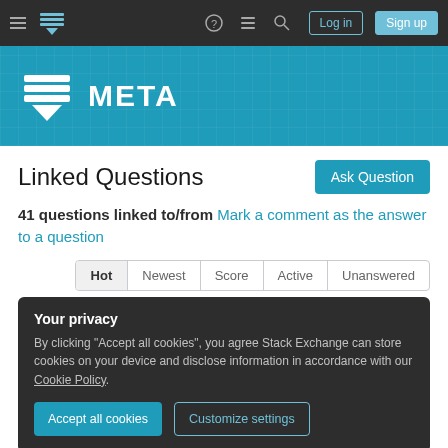Stack Exchange Meta — Navigation bar with Log in and Sign up
[Figure (screenshot): Meta Stack Exchange logo banner with blue background and white speech bubble icon with text META]
Linked Questions
41 questions linked to/from Mark a comment as the answer to a question
Hot | Newest | Score | Active | Unanswered
Your privacy
By clicking "Accept all cookies", you agree Stack Exchange can store cookies on your device and disclose information in accordance with our Cookie Policy.
Accept all cookies | Customize settings
Michael Mrozek 64.9k asked May 11, 2010 at 16:10